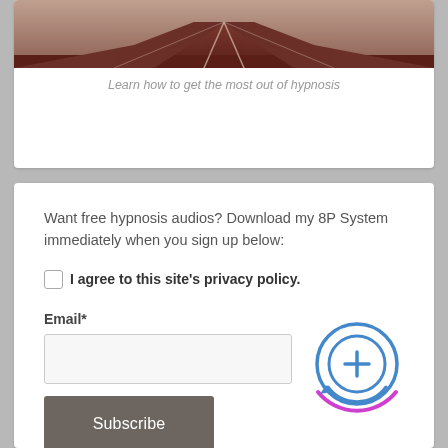[Figure (photo): Road vanishing into distance, reddish-brown surface with white lane markings]
Learn how to get the most out of hypnosis
Want free hypnosis audios? Download my 8P System immediately when you sign up below:
I agree to this site's privacy policy.
Email*
[Figure (logo): Circular icon with plus sign and arrow, surrounded by purple and blue concentric arcs]